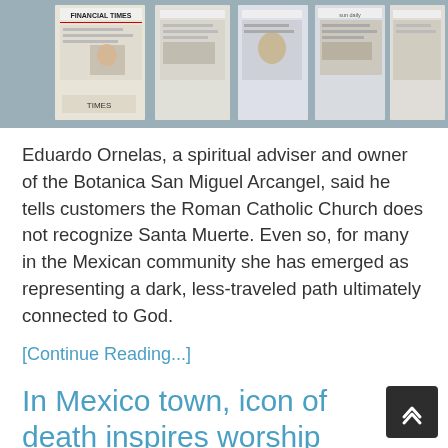[Figure (photo): Photo of a newspaper rack showing various newspapers including the Financial Times and Times]
Eduardo Ornelas, a spiritual adviser and owner of the Botanica San Miguel Arcangel, said he tells customers the Roman Catholic Church does not recognize Santa Muerte. Even so, for many in the Mexican community she has emerged as representing a dark, less-traveled path ultimately connected to God.
[Continue Reading...]
In Mexico town, icon of death inspires worship and worry